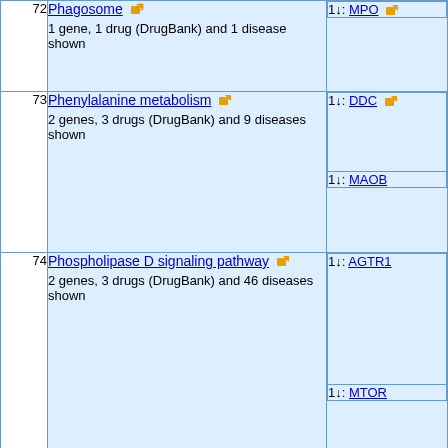| # | Pathway | Top genes |
| --- | --- | --- |
| 72 | Phagosome
1 gene, 1 drug (DrugBank) and 1 disease shown | 1↓: MPO |
| 73 | Phenylalanine metabolism
2 genes, 3 drugs (DrugBank) and 9 diseases shown | 1↓: DDC
1↓: MAOB |
| 74 | Phospholipase D signaling pathway
2 genes, 3 drugs (DrugBank) and 46 diseases shown | 1↓: AGTR1
1↓: MTOR |
| 75 | PI3K-Akt signaling pathway
1 gene, 1 drug (DrugBank) and 36 diseases shown | 1↓: MTOR |